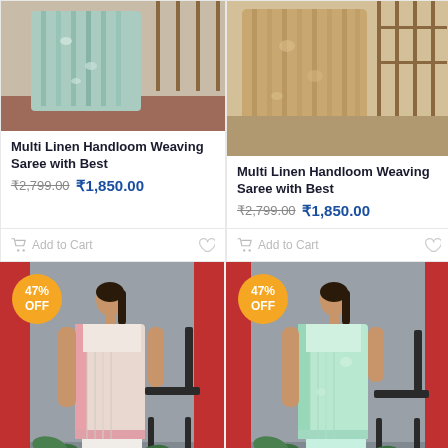[Figure (photo): Teal/mint multi-color linen handloom saree draped and displayed]
Multi Linen Handloom Weaving Saree with Best
₹2,799.00  ₹1,850.00
Add to Cart
[Figure (photo): Gold/beige multi-color linen handloom saree draped and displayed]
Multi Linen Handloom Weaving Saree with Best
₹2,799.00  ₹1,850.00
Add to Cart
[Figure (photo): Woman wearing pink/white linen saree with 47% OFF badge]
[Figure (photo): Woman wearing mint green linen saree with 47% OFF badge]